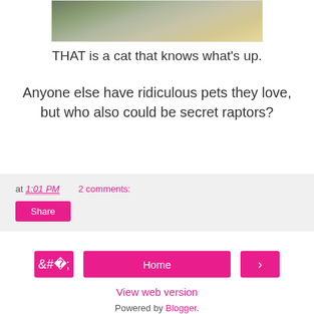[Figure (photo): Top portion of a photo showing what appears to be a cat on a patchwork quilt, partially cropped at top of page]
THAT is a cat that knows what's up.
Anyone else have ridiculous pets they love, but who also could be secret raptors?
at 1:01 PM   2 comments:
Share
‹   Home   ›
View web version
Powered by Blogger.